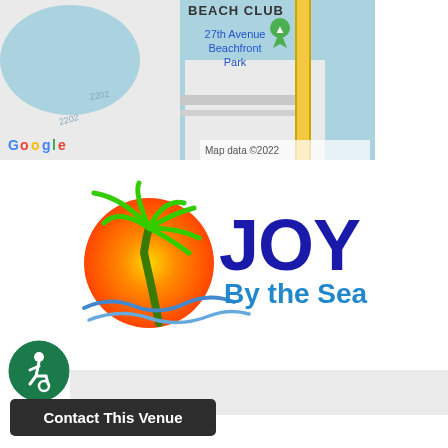[Figure (map): Google Maps screenshot showing 27th Avenue Beachfront Park area with Beach Club label and map marker. Shows coastal waterways and streets. Map data ©2022.]
[Figure (logo): Joy By the Sea logo featuring a green palm tree over an orange/red sunset circle with blue wave, and bold blue text reading 'JOY By the Sea']
[Figure (other): Accessibility icon - circular green badge with wheelchair user symbol in white]
Contact This Venue